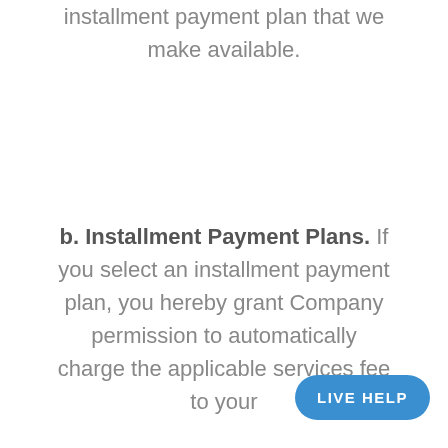installment payment plan that we make available.
b. Installment Payment Plans. If you select an installment payment plan, you hereby grant Company permission to automatically charge the applicable services fee to your
LIVE HELP